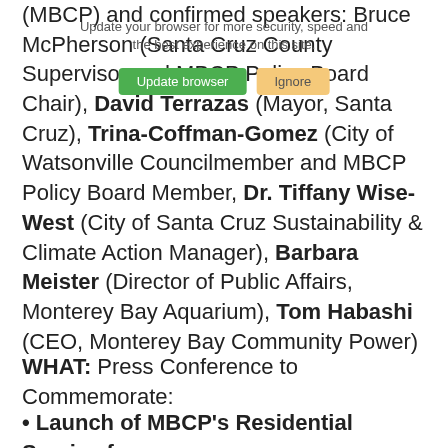(MBCP) and confirmed speakers: Bruce McPherson (Santa Cruz County Supervisor and MBCP Policy Board Chair), David Terrazas (Mayor, Santa Cruz), Trina-Coffman-Gomez (City of Watsonville Councilmember and MBCP Policy Board Member, Dr. Tiffany Wise-West (City of Santa Cruz Sustainability & Climate Action Manager), Barbara Meister (Director of Public Affairs, Monterey Bay Aquarium), Tom Habashi (CEO, Monterey Bay Community Power)
WHAT: Press Conference to Commemorate:
Launch of MBCP's Residential Service for